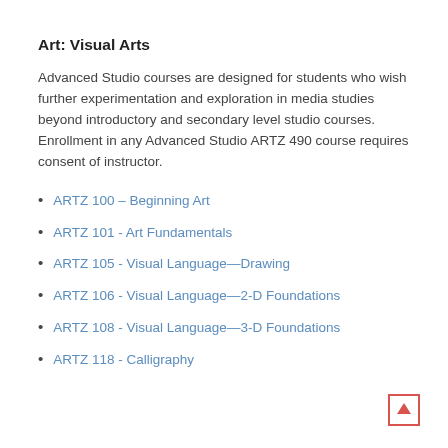Art: Visual Arts
Advanced Studio courses are designed for students who wish further experimentation and exploration in media studies beyond introductory and secondary level studio courses. Enrollment in any Advanced Studio ARTZ 490 course requires consent of instructor.
ARTZ 100 – Beginning Art
ARTZ 101 – Art Fundamentals
ARTZ 105 - Visual Language—Drawing
ARTZ 106 - Visual Language—2-D Foundations
ARTZ 108 - Visual Language—3-D Foundations
ARTZ 118 - Calligraphy